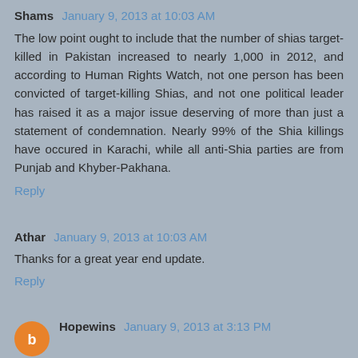Shams  January 9, 2013 at 10:03 AM
The low point ought to include that the number of shias target-killed in Pakistan increased to nearly 1,000 in 2012, and according to Human Rights Watch, not one person has been convicted of target-killing Shias, and not one political leader has raised it as a major issue deserving of more than just a statement of condemnation. Nearly 99% of the Shia killings have occured in Karachi, while all anti-Shia parties are from Punjab and Khyber-Pakhana.
Reply
Athar  January 9, 2013 at 10:03 AM
Thanks for a great year end update.
Reply
Hopewins  January 9, 2013 at 3:13 PM